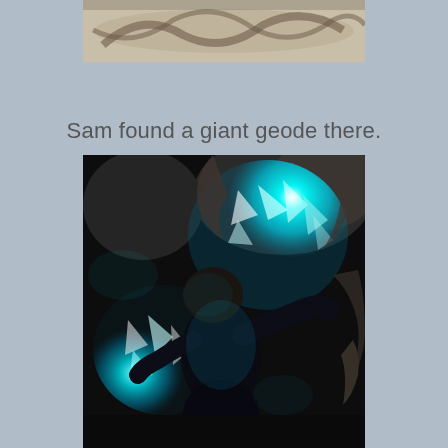[Figure (photo): Top portion of a photo showing what appears to be a map or illustrated floor/ground with snake-like designs, partially cropped at the top of the page.]
Sam found a giant geode there.
[Figure (photo): A child (Sam) in dark clothing holding or touching a large glowing blue/cyan geode in what appears to be a dark cave or mineral exhibit. The geode emits a bright blue-teal glow illuminating the surrounding rock formations.]